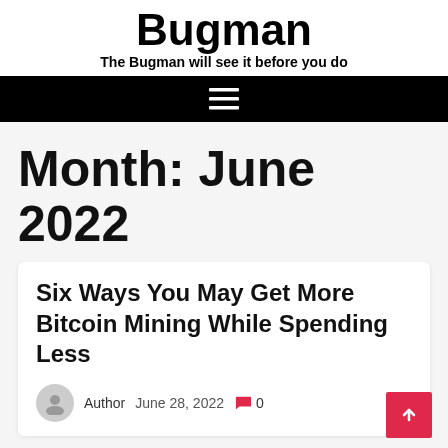Bugman
The Bugman will see it before you do
Month: June 2022
Six Ways You May Get More Bitcoin Mining While Spending Less
Author  June 28, 2022  0